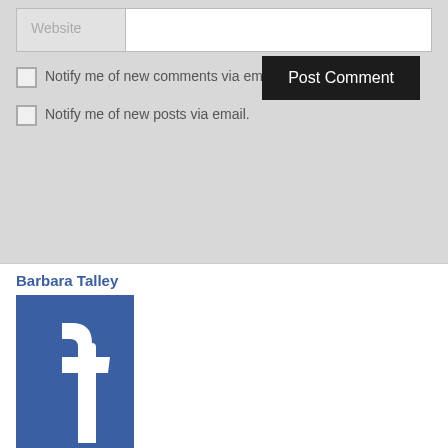Website
Notify me of new comments via email.
Notify me of new posts via email.
Post Comment
Barbara Talley
[Figure (logo): Facebook logo - blue square with white 'f' icon]